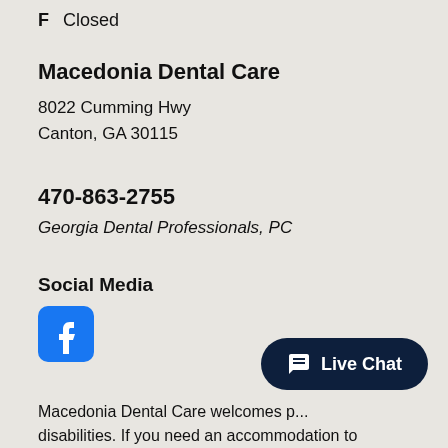F  Closed
Macedonia Dental Care
8022 Cumming Hwy
Canton, GA 30115
470-863-2755
Georgia Dental Professionals, PC
Social Media
[Figure (logo): Facebook social media icon — rounded square with white 'f' logo]
[Figure (other): Live Chat button with chat bubble icon]
Macedonia Dental Care welcomes p... disabilities. If you need an accommodation to